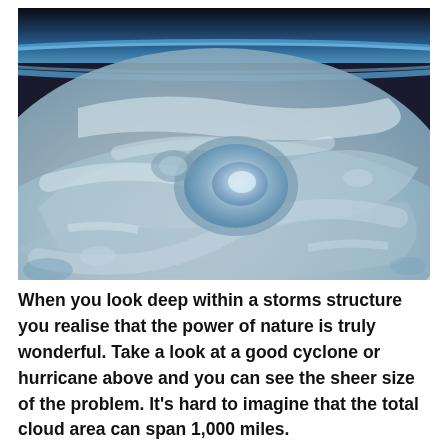[Figure (photo): Aerial/satellite photograph of a large hurricane or cyclone viewed from space, showing the swirling cloud structure and the eye of the storm. Earth's curved horizon with a blue atmospheric glow is visible at the top of the image against the black of space.]
When you look deep within a storms structure you realise that the power of nature is truly wonderful. Take a look at a good cyclone or hurricane above and you can see the sheer size of the problem. It's hard to imagine that the total cloud area can span 1,000 miles.